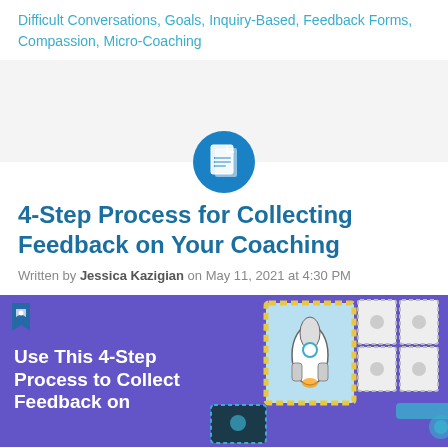Difficult Conversations, Goals, Inquiry-Based, Feedback Forms, Compassion, Micro-Coaching
[Figure (illustration): Gray background section with a teal/blue circular icon containing a document/notes symbol, centered at the bottom of the gray band]
4-Step Process for Collecting Feedback on Your Coaching
Written by Jessica Kazigian on May 11, 2021 at 4:30 PM
[Figure (illustration): Purple/violet banner with white bold text 'Use This 4-Step Process to Collect Feedback on' and decorative stamp illustrations (rocket, other figures) on the right side with a small rocket bookmark icon top-left]